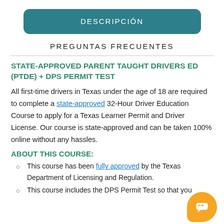DESCRIPCIÓN
PREGUNTAS FRECUENTES
STATE-APPROVED PARENT TAUGHT DRIVERS ED (PTDE) + DPS PERMIT TEST
All first-time drivers in Texas under the age of 18 are required to complete a state-approved 32-Hour Driver Education Course to apply for a Texas Learner Permit and Driver License. Our course is state-approved and can be taken 100% online without any hassles.
ABOUT THIS COURSE:
This course has been fully approved by the Texas Department of Licensing and Regulation.
This course includes the DPS Permit Test so that you